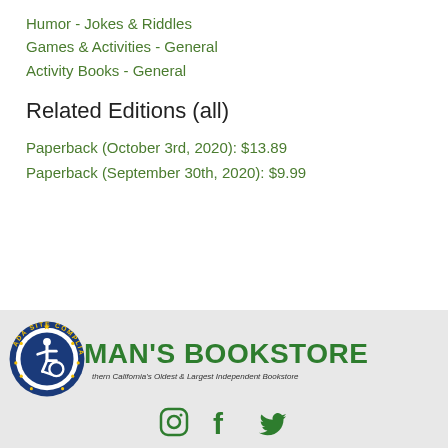Humor - Jokes & Riddles
Games & Activities - General
Activity Books - General
Related Editions (all)
Paperback (October 3rd, 2020): $13.89
Paperback (September 30th, 2020): $9.99
Vroman's Bookstore — Southern California's Oldest & Largest Independent Bookstore. Social icons: Instagram, Facebook, Twitter. ADA Site Compliance badge.